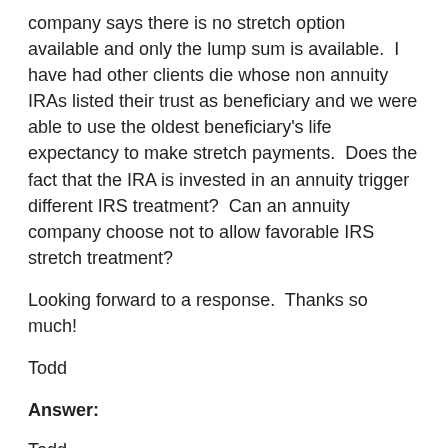company says there is no stretch option available and only the lump sum is available.  I have had other clients die whose non annuity IRAs listed their trust as beneficiary and we were able to use the oldest beneficiary's life expectancy to make stretch payments.  Does the fact that the IRA is invested in an annuity trigger different IRS treatment?  Can an annuity company choose not to allow favorable IRS stretch treatment?
Looking forward to a response.  Thanks so much!
Todd
Answer:
Todd,
The tax code allows the stretch option for trusts that meet certain requirements. However, IRA custodians are not required to offer beneficiaries all the options